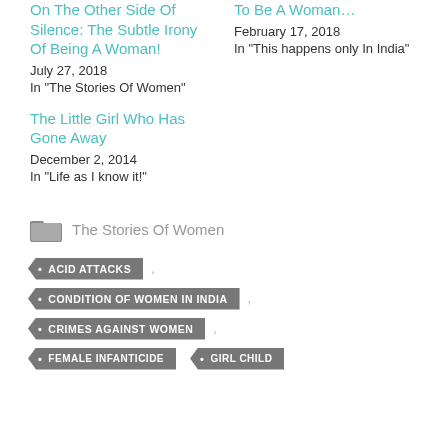On The Other Side Of Silence: The Subtle Irony Of Being A Woman! — July 27, 2018 — In "The Stories Of Women"
To Be A Woman... — February 17, 2018 — In "This happens only In India"
The Little Girl Who Has Gone Away — December 2, 2014 — In "Life as I know it!"
The Stories Of Women
ACID ATTACKS
CONDITION OF WOMEN IN INDIA
CRIMES AGAINST WOMEN
FEMALE INFANTICIDE
GIRL CHILD